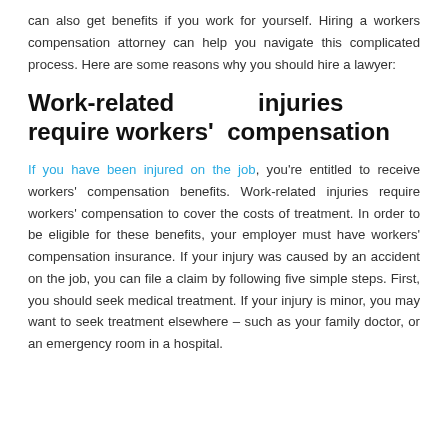can also get benefits if you work for yourself. Hiring a workers compensation attorney can help you navigate this complicated process. Here are some reasons why you should hire a lawyer:
Work-related injuries require workers' compensation
If you have been injured on the job, you're entitled to receive workers' compensation benefits. Work-related injuries require workers' compensation to cover the costs of treatment. In order to be eligible for these benefits, your employer must have workers' compensation insurance. If your injury was caused by an accident on the job, you can file a claim by following five simple steps. First, you should seek medical treatment. If your injury is minor, you may want to seek treatment elsewhere – such as your family doctor, or an emergency room in a hospital.